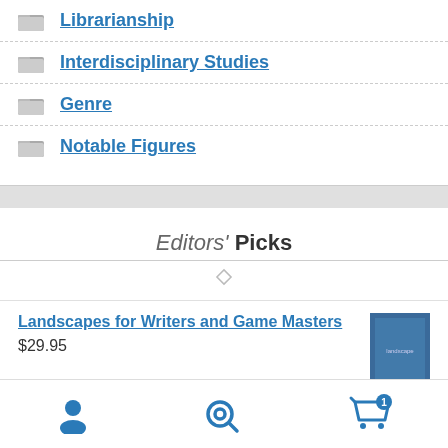Librarianship
Interdisciplinary Studies
Genre
Notable Figures
Editors' Picks
Landscapes for Writers and Game Masters
$29.95